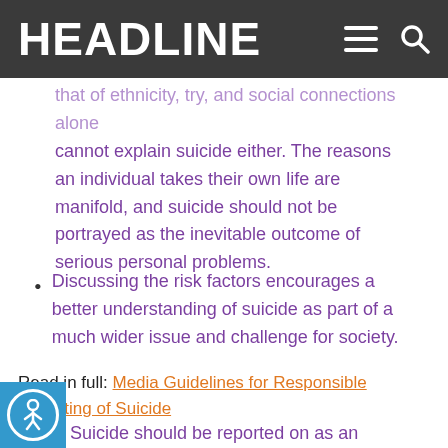HEADLINE
that of ethnicity, try, and social connections alone cannot explain suicide either. The reasons an individual takes their own life are manifold, and suicide should not be portrayed as the inevitable outcome of serious personal problems.
Discussing the risk factors encourages a better understanding of suicide as part of a much wider issue and challenge for society.
Read in full: Media Guidelines for Responsible Reporting of Suicide
Suicide should be reported on as an important